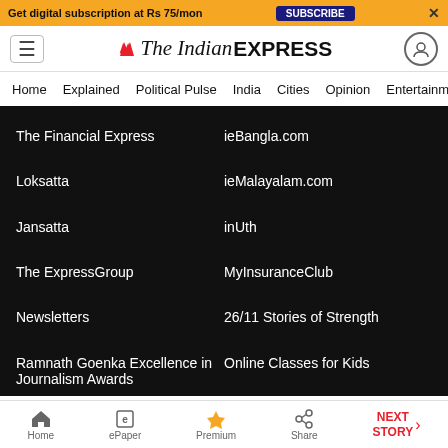Get digital subscription at Rs 75/mon   SUBSCRIBE   ✕
The Indian EXPRESS — Home | Explained | Political Pulse | India | Cities | Opinion | Entertainment
The Financial Express
ieBangla.com
Loksatta
ieMalayalam.com
Jansatta
inUth
The ExpressGroup
MyInsuranceClub
Newsletters
26/11 Stories of Strength
Ramnath Goenka Excellence in Journalism Awards
Online Classes for Kids
Home | ePaper | Premium | Share | NEXT STORY →